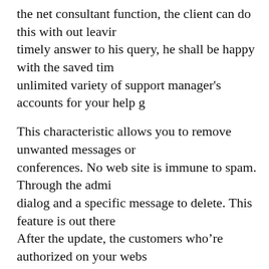the net consultant function, the client can do this with out leaving timely answer to his query, he shall be happy with the saved tim unlimited variety of support manager's accounts for your help g
This characteristic allows you to remove unwanted messages on conferences. No web site is immune to spam. Through the admi dialog and a specific message to delete. This feature is out there After the update, the customers who're authorized on your webs have icons subsequent to each message, by clicking which a wi the reason for the ban and the selection of the ban period.
Not solely chat administrator can delete messages, but users. Th messages if there could be some errors or for any other reason. simple and clear: just an cross button close to the message.
Share any kind of files: photos, audio, video, paperwork and eve .doc, .xlxs, .png, .jpg, .mp3, .mp4, .gif and others can be found from the chat. Embedded file sharing interface is easy-ti use. Us click.